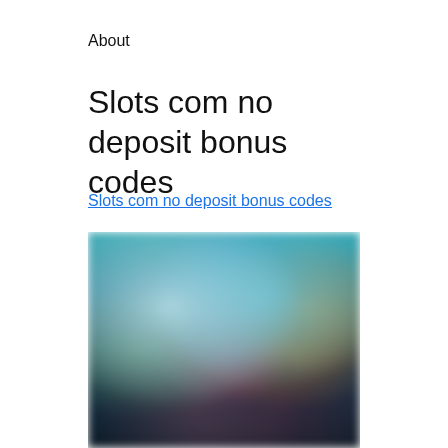About
Slots com no deposit bonus codes
Slots com no deposit bonus codes
[Figure (photo): Blurred screenshot of an online casino slots game interface showing colorful slot machine characters on a teal/blue background with game thumbnails below]